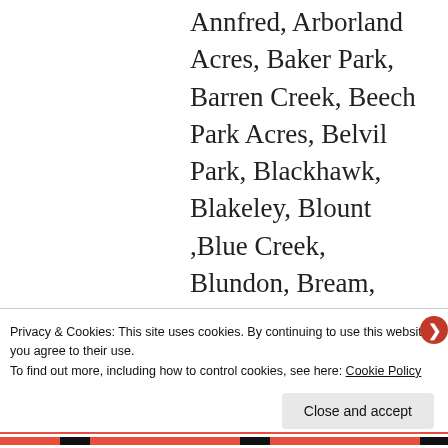Annfred, Arborland Acres, Baker Park, Barren Creek, Beech Park Acres, Belvil Park, Blackhawk, Blakeley, Blount ,Blue Creek, Blundon, Bream, Brounland, Burnwell, Cabin Creek, Carbon, Cinco, Coalburg, Coalridge, Coco, Corton, Creed, Crown Hill, Davis Creek, Dawes, Decota, Dial, Diamond, Dickinson, Donwood,
Privacy & Cookies: This site uses cookies. By continuing to use this website, you agree to their use.
To find out more, including how to control cookies, see here: Cookie Policy